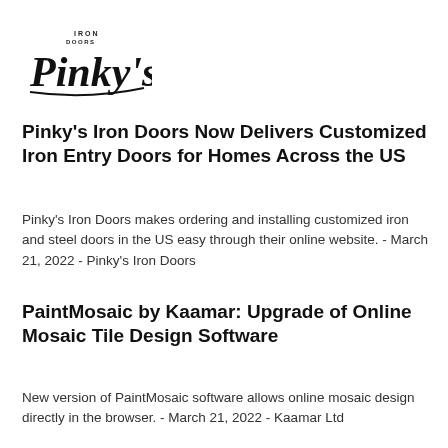[Figure (logo): Pinky's Iron Doors logo — script handwritten text 'Pinky's' with 'IRON DOORS' in small caps above]
Pinky's Iron Doors Now Delivers Customized Iron Entry Doors for Homes Across the US
Pinky's Iron Doors makes ordering and installing customized iron and steel doors in the US easy through their online website. - March 21, 2022 - Pinky's Iron Doors
PaintMosaic by Kaamar: Upgrade of Online Mosaic Tile Design Software
New version of PaintMosaic software allows online mosaic design directly in the browser. - March 21, 2022 - Kaamar Ltd